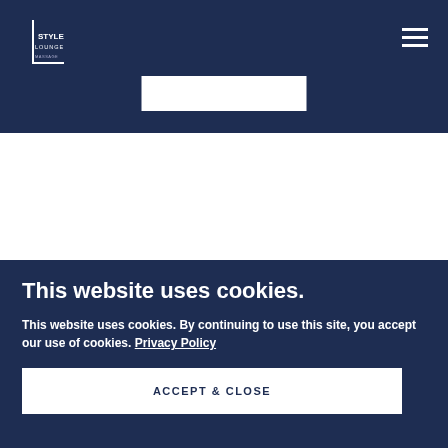[Figure (logo): Style Lounge logo - white text on dark navy background, bracket-L shape with STYLE LOUNGE text]
This website uses cookies.
This website uses cookies. By continuing to use this site, you accept our use of cookies. Privacy Policy
ACCEPT & CLOSE